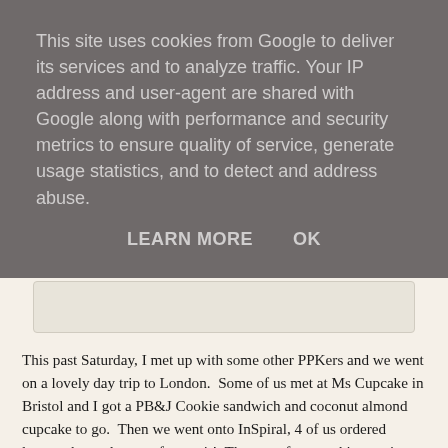This site uses cookies from Google to deliver its services and to analyze traffic. Your IP address and user-agent are shared with Google along with performance and security metrics to ensure quality of service, generate usage statistics, and to detect and address abuse.
LEARN MORE   OK
[Figure (photo): Partial view of a food photo showing colorful dishes, partially obscured by the cookie overlay]
This past Saturday, I met up with some other PPKers and we went on a lovely day trip to London.  Some of us met at Ms Cupcake in Bristol and I got a PB&J Cookie sandwich and coconut almond cupcake to go.  Then we went onto InSpiral, 4 of us ordered lasagne but only one of us go it!  The rest of us got this veggie bake thing.  Not lasagne but still pretty tasty.  You get to pick 3 sides, so I went for the bean salad, wedges and Greek style salad and also some garlic mayo – which is what that bright yellow stuff is.  Didn't taste anything like garlic mayo to me but it was yummy.  I've been dying to go to InSpiral for ages and I wasn't disappointed.  I also had some Maple & Pecan icecream, their ice creams are all raw and very tasty.  I didn't get a pic though.